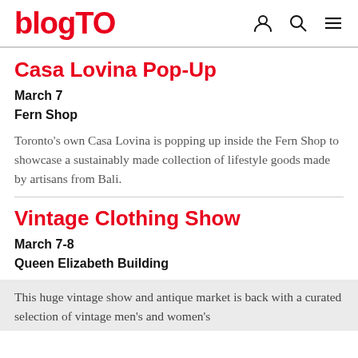blogTO
Casa Lovina Pop-Up
March 7
Fern Shop
Toronto's own Casa Lovina is popping up inside the Fern Shop to showcase a sustainably made collection of lifestyle goods made by artisans from Bali.
Vintage Clothing Show
March 7-8
Queen Elizabeth Building
This huge vintage show and antique market is back with a curated selection of vintage men's and women's